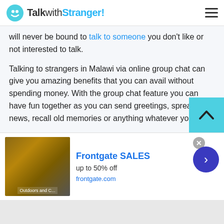TalkwithStranger!
will never be bound to talk to someone you don't like or not interested to talk.
Talking to strangers in Malawi via online group chat can give you amazing benefits that you can avail without spending money. With the group chat feature you can have fun together as you can send greetings, spread news, recall old memories or anything whatever you want.
Community chat
[Figure (screenshot): Advertisement banner for Frontgate SALES - up to 50% off, frontgate.com, showing outdoor furniture image]